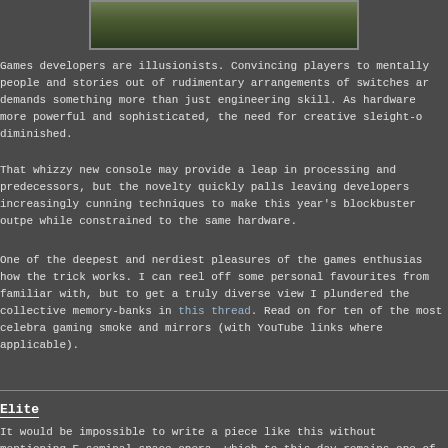[Figure (photo): A game screenshot showing a dark green outdoor/nature scene, likely from a 3D game environment.]
Games developers are illusionists. Convincing players to mentally people and stories out of rudimentary arrangements of switches and demands something more than just engineering skill. As hardware more powerful and sophisticated, the need for creative sleight-o diminished.
That whizzy new console may provide a leap in processing and predecessors, but the novelty quickly palls leaving developers increasingly cunning techniques to make this year's blockbuster outpe while constrained to the same hardware.
One of the deepest and nerdiest pleasures of the games enthusias how the trick works. I can reel off some personal favourites from familiar with, but to get a truly diverse view I plundered the collective memory-banks in this thread. Read on for ten of the most celebra gaming smoke and mirrors (with YouTube links where applicable).
Elite
It would be impossible to write a piece like this without mentioning E seminal space opera, which to this day remains one of the extraordinary feats of procedural content generation ever attempted no trick to Elite, it's just an application of elegant, economical math same way that putting a ship in a bottle is 'just' the application of a